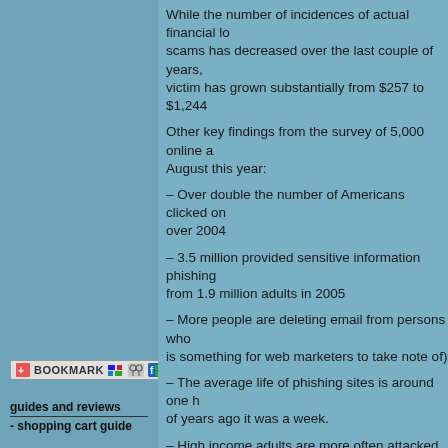While the number of incidences of actual financial loss from phishing scams has decreased over the last couple of years, the average loss per victim has grown substantially from $257 to $1,244
Other key findings from the survey of 5,000 online adults in June and August this year:
– Over double the number of Americans clicked on phishing sites over 2004
– 3.5 million provided sensitive information phishing sites, up from 1.9 million adults in 2005
– More people are deleting email from persons who they don't know (this is something for web marketers to take note of)
– The average life of phishing sites is around one hour, whereas a couple of years ago it was a week.
– High income adults are more often attacked
– Monetary recovery rates from phishing attacks in the past year. In 2005, it was 80%
– Financial losses from phishing attacks have exceeded
So it would appear that while people are becoming more aware of phishing scams, the sheer number, ferocity, elusiveness and sophistication of successful phishing attacks is well and truly outpaci
[Figure (screenshot): Bookmark button widget with icons for bookmarking and sharing]
guides and reviews
- shopping cart guide